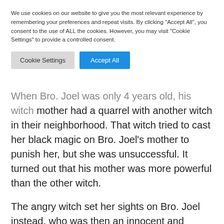We use cookies on our website to give you the most relevant experience by remembering your preferences and repeat visits. By clicking "Accept All", you consent to the use of ALL the cookies. However, you may visit "Cookie Settings" to provide a controlled consent.
Cookie Settings | Accept All
When Bro. Joel was only 4 years old, his witch mother had a quarrel with another witch in their neighborhood. That witch tried to cast her black magic on Bro. Joel's mother to punish her, but she was unsuccessful. It turned out that his mother was more powerful than the other witch.
The angry witch set her sights on Bro. Joel instead, who was then an innocent and helpless 4-year old kid, pouring our all her wrath on him. And so, Bro. Joel suffered from the evil works of